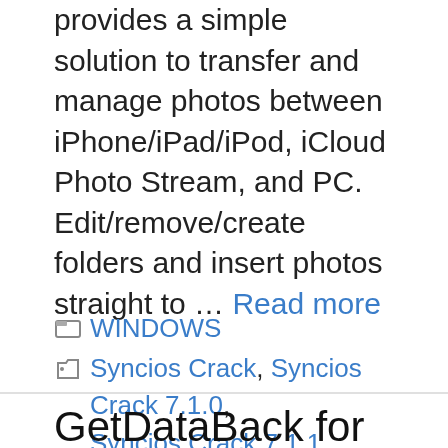...provides a simple solution to transfer and manage photos between iPhone/iPad/iPod, iCloud Photo Stream, and PC. Edit/remove/create folders and insert photos straight to … Read more
WINDOWS
Syncios Crack, Syncios Crack 7.1.0, Syncios Crack 7.1.1, Syncios Crack activation key, Syncios Crack latest key, Syncios Crack license key, Syncios Crack serial key
GetDataBack for NTFS 5.57